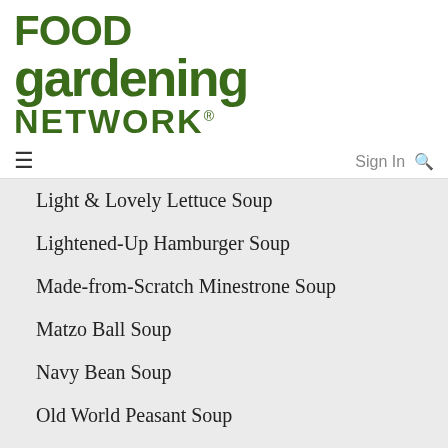[Figure (logo): Food Gardening Network logo in dark green bold text]
≡   Sign In 🔍
Light & Lovely Lettuce Soup
Lightened-Up Hamburger Soup
Made-from-Scratch Minestrone Soup
Matzo Ball Soup
Navy Bean Soup
Old World Peasant Soup
Old-Fashioned Chicken and Dumplings
Pale Ale Chili
Parsley-Watercress Soup
Pasta e Fagioli Soup